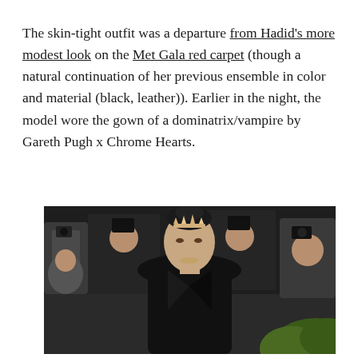The skin-tight outfit was a departure from Hadid's more modest look on the Met Gala red carpet (though a natural continuation of her previous ensemble in color and material (black, leather)). Earlier in the night, the model wore the gown of a dominatrix/vampire by Gareth Pugh x Chrome Hearts.
[Figure (photo): A woman (Bella Hadid) wearing a black leather outfit and a decorative headpiece at the Met Gala, surrounded by photographers in the background and green foliage visible at the bottom right.]